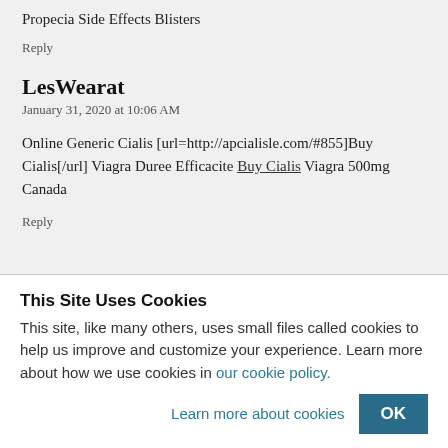Propecia Side Effects Blisters
Reply
LesWearat
January 31, 2020 at 10:06 AM
Online Generic Cialis [url=http://apcialisle.com/#855]Buy Cialis[/url] Viagra Duree Efficacite Buy Cialis Viagra 500mg Canada
Reply
This Site Uses Cookies
This site, like many others, uses small files called cookies to help us improve and customize your experience. Learn more about how we use cookies in our cookie policy.
Learn more about cookies
OK